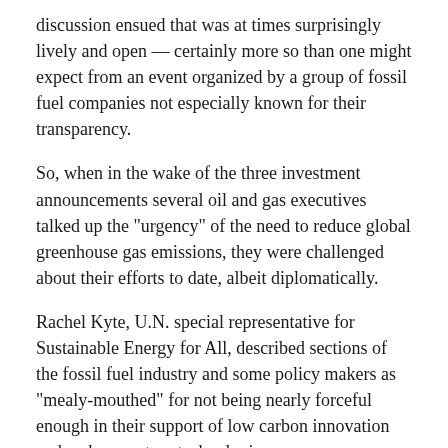discussion ensued that was at times surprisingly lively and open — certainly more so than one might expect from an event organized by a group of fossil fuel companies not especially known for their transparency.
So, when in the wake of the three investment announcements several oil and gas executives talked up the "urgency" of the need to reduce global greenhouse gas emissions, they were challenged about their efforts to date, albeit diplomatically.
Rachel Kyte, U.N. special representative for Sustainable Energy for All, described sections of the fossil fuel industry and some policy makers as "mealy-mouthed" for not being nearly forceful enough in their support of low carbon innovation and carbon capture technologies.
"We're at a moment where we've put one foot across the stream, but we haven't transferred all the weight on that front foot," Kyte said. "All of the companies in this room